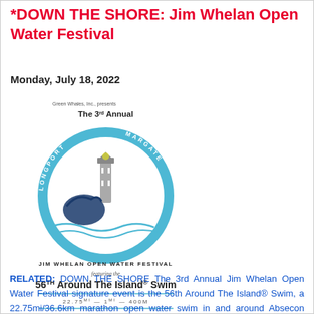*DOWN THE SHORE: Jim Whelan Open Water Festival
Monday, July 18, 2022
[Figure (logo): Green Whales, Inc. presents The 3rd Annual Jim Whelan Open Water Festival featuring the 56th Around The Island® Swim logo with circular badge showing Atlantic City, Ventnor, Margate, Longport text around a swimmer and lighthouse. 22.75MI – 1MI – 400M. August 8-9, 2022. Atlantic City, NJ, USA.]
RELATED: DOWN THE SHORE The 3rd Annual Jim Whelan Open Water Festival signature event is the 56th Around The Island® Swim, a 22.75mi/36.6km marathon open water swim in and around Absecon Island, NJ, which is made up of the cities of Atlantic City, Ventnor, Margate, and Longport. Hosted by Green Whales, Inc., the